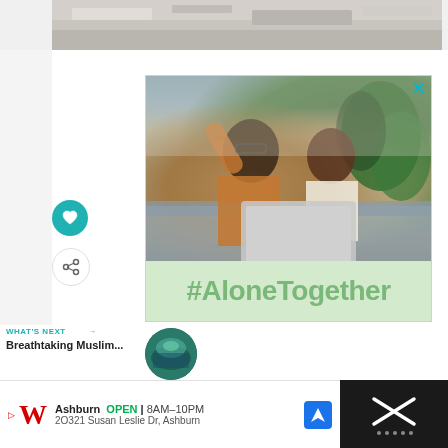[Figure (photo): Top cropped photo showing a marble/stone surface interior scene]
[Figure (photo): Advertisement showing a Black man and young girl sitting on a couch waving at a laptop, with #AloneTogether text on green background below]
WHAT'S NEXT →
Breathtaking Muslim...
[Figure (photo): Thumbnail circular image of a scenic location]
[Figure (other): Walgreens advertisement banner: Ashburn OPEN 8AM-10PM, 2O321 Susan Leslie Dr, Ashburn]
[Figure (other): Dark close/dismiss button panel on right side of bottom ad]